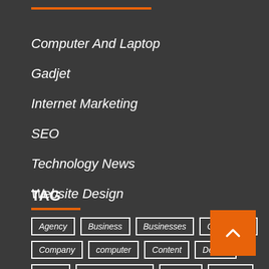Computer And Laptop
Gadjet
Internet Marketing
SEO
Technology News
Website Design
TAG
Agency
Business
Businesses
Companies
Company
computer
Content
Design
Digital
Digital Marketing
Gadget
gadgets